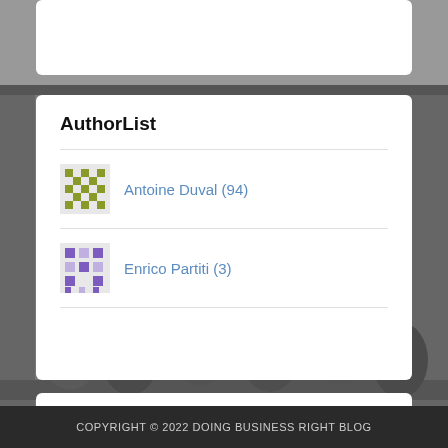[Figure (photo): Grayscale background photo of people in an industrial or workshop setting]
AuthorList
Antoine Duval (94)
Enrico Partiti (3)
Twitter
Tweets by Doing Business Right
COPYRIGHT © 2022 DOING BUSINESS RIGHT BLOG